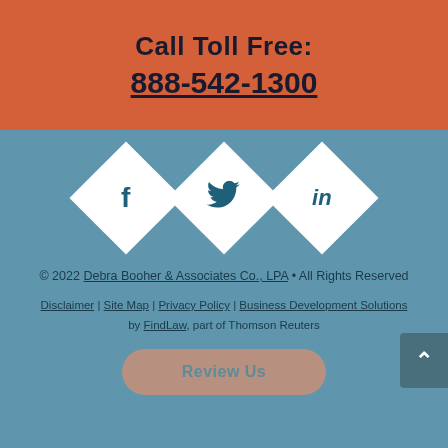Call Toll Free:
888-542-1300
[Figure (illustration): Three diamond-shaped social media icons for Facebook (f), Twitter (bird), and LinkedIn (in) on a blue-grey background]
© 2022 Debra Booher & Associates Co., LPA • All Rights Reserved
Disclaimer | Site Map | Privacy Policy | Business Development Solutions by FindLaw, part of Thomson Reuters
Review Us